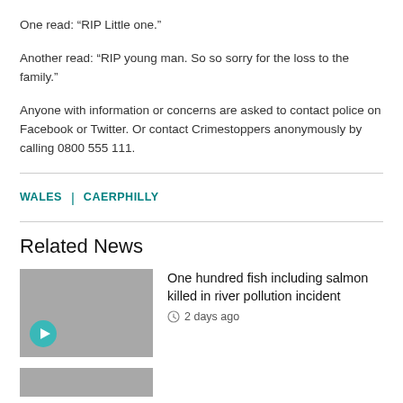One read: “RIP Little one.”
Another read: “RIP young man. So so sorry for the loss to the family.”
Anyone with information or concerns are asked to contact police on Facebook or Twitter. Or contact Crimestoppers anonymously by calling 0800 555 111.
WALES | CAERPHILLY
Related News
One hundred fish including salmon killed in river pollution incident
2 days ago